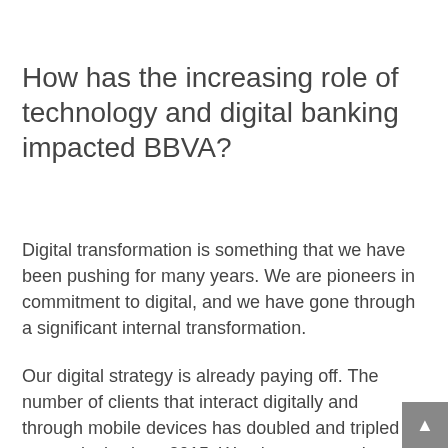How has the increasing role of technology and digital banking impacted BBVA?
Digital transformation is something that we have been pushing for many years. We are pioneers in commitment to digital, and we have gone through a significant internal transformation.
Our digital strategy is already paying off. The number of clients that interact digitally and through mobile devices has doubled and tripled respectively since 2015. We also are proud to have our BBVA Spain mobile banking app ranked